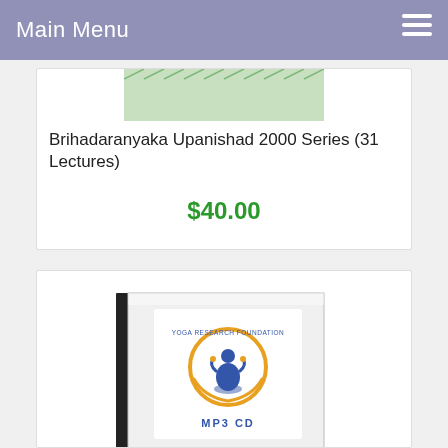Main Menu
[Figure (photo): Partial view of a book or lecture series cover with decorative pattern]
Brihadaranyaka Upanishad 2000 Series (31 Lectures)
$40.00
[Figure (photo): MP3 CD in a jewel case with Yoga Research Foundation logo]